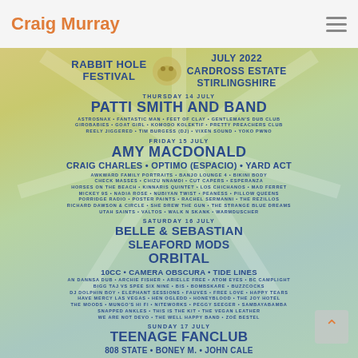Craig Murray
[Figure (infographic): Rabbit Hole Festival poster for July 2022 at Cardross Estate, Stirlingshire. Lists acts for Thursday 14 July (headliner: Patti Smith and Band), Friday 15 July (headliner: Amy Macdonald, Craig Charles, Optimo (Espacio), Yard Act), Saturday 16 July (headliners: Belle & Sebastian, Sleaford Mods, Orbital), Sunday 17 July (headliners: Teenage Fanclub, 808 State, Boney M., John Cale)]
RABBIT HOLE FESTIVAL
JULY 2022 CARDROSS ESTATE STIRLINGSHIRE
THURSDAY 14 JULY
PATTI SMITH AND BAND
ASTROSNAX • FANTASTIC MAN • FEET OF CLAY • GENTLEMAN'S DUB CLUB GIROBABIES • GOAT GIRL • KOMODO KOLEKTIF • PRETTY PREACHERS CLUB REELY JIGGERED • TIM BURGESS (DJ) • VIXEN SOUND • YOKO PWNO
FRIDAY 15 JULY
AMY MACDONALD
CRAIG CHARLES • OPTIMO (ESPACIO) • YARD ACT
AWKWARD FAMILY PORTRAITS • BANJO LOUNGE 4 • BIKINI BODY CHECK MASSES • CHIZU NNAMDI • CUT CAPERS • ESPERANZA HORSES ON THE BEACH • KINNARIS QUINTET • LOS CHICHANOS • MAD FERRET MICKEY 9s • NADIA ROSE • NUBIYAN TWIST • PEANESS • PILLOW QUEENS PORRIDGE RADIO • POSTER PAINTS • RACHEL SERMANNI • THE REZILLOS RICHARD DAWSON & CIRCLE • SHE DREW THE GUN • THE STRANGE BLUE DREAMS UTAH SAINTS • VALTOS • WALK N SKANK • WARMDUSCHER
SATURDAY 16 JULY
BELLE & SEBASTIAN
SLEAFORD MODS
ORBITAL
10cc • CAMERA OBSCURA • TIDE LINES
AN DANNSA DUB • ARCHIE FISHER • ARIELLE FREE • ATOM EYES • BC CAMPLIGHT BIGG TAJ VS SPEE SIX NINE • BIS • BOMBSKARE • BUZZCOCKS DJ DOLPHIN BOY • ELEPHANT SESSIONS • FAUVES • FREE LOVE • HAPPY TEARS HAVE MERCY LAS VEGAS • HEN OGLEDD • HONEYBLOOD • THE JOY HOTEL THE MOODS • MUNGO'S HI FI • NITEWORKS • PEGGY SEEGER • SAMBAYABAMBA SNAPPED ANKLES • THIS IS THE KIT • THE VEGAN LEATHER WE ARE NOT DEVO • THE WELL HAPPY BAND • ZOÉ BESTEL
SUNDAY 17 JULY
TEENAGE FANCLUB
808 STATE • BONEY M. • JOHN CALE